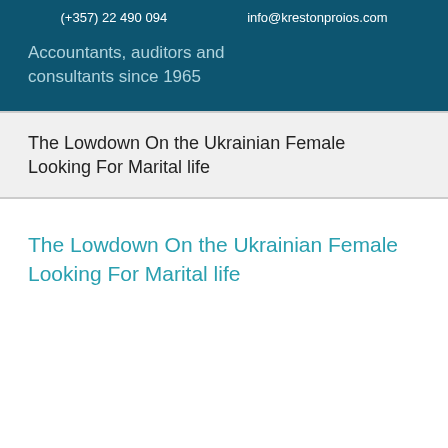(+357) 22 490 094    info@krestonproios.com
Accountants, auditors and consultants since 1965
The Lowdown On the Ukrainian Female Looking For Marital life
The Lowdown On the Ukrainian Female Looking For Marital life